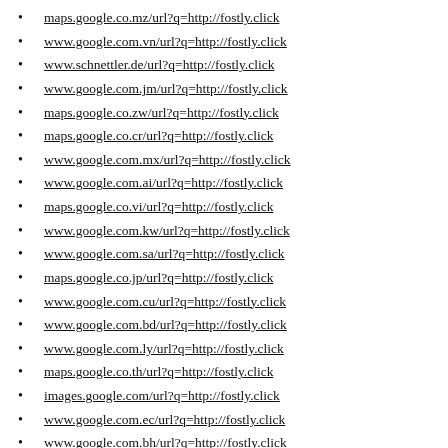maps.google.co.mz/url?q=http://fostly.click
www.google.com.vn/url?q=http://fostly.click
www.schnettler.de/url?q=http://fostly.click
www.google.com.jm/url?q=http://fostly.click
maps.google.co.zw/url?q=http://fostly.click
maps.google.co.cr/url?q=http://fostly.click
www.google.com.mx/url?q=http://fostly.click
www.google.com.ai/url?q=http://fostly.click
maps.google.co.vi/url?q=http://fostly.click
www.google.com.kw/url?q=http://fostly.click
www.google.com.sa/url?q=http://fostly.click
maps.google.co.jp/url?q=http://fostly.click
www.google.com.cu/url?q=http://fostly.click
www.google.com.bd/url?q=http://fostly.click
www.google.com.ly/url?q=http://fostly.click
maps.google.co.th/url?q=http://fostly.click
images.google.com/url?q=http://fostly.click
www.google.com.ec/url?q=http://fostly.click
www.google.com.bh/url?q=http://fostly.click